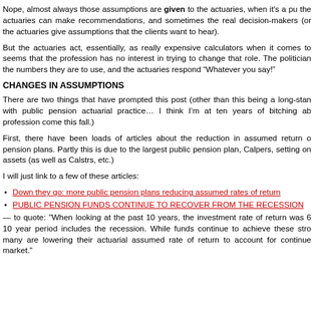Nope, almost always those assumptions are given to the actuaries, when it's a pu the actuaries can make recommendations, and sometimes the real decision-makers (or the actuaries give assumptions that the clients want to hear).
But the actuaries act, essentially, as really expensive calculators when it comes to seems that the profession has no interest in trying to change that role. The politician the numbers they are to use, and the actuaries respond “Whatever you say!”
CHANGES IN ASSUMPTIONS
There are two things that have prompted this post (other than this being a long-stan with public pension actuarial practice… I think I’m at ten years of bitching ab profession come this fall.)
First, there have been loads of articles about the reduction in assumed return o pension plans. Partly this is due to the largest public pension plan, Calpers, setting on assets (as well as Calstrs, etc.)
I will just link to a few of these articles:
Down they go: more public pension plans reducing assumed rates of return
PUBLIC PENSION FUNDS CONTINUE TO RECOVER FROM THE RECESSION
— to quote: "When looking at the past 10 years, the investment rate of return was 6 10 year period includes the recession. While funds continue to achieve these stro many are lowering their actuarial assumed rate of return to account for continue market."